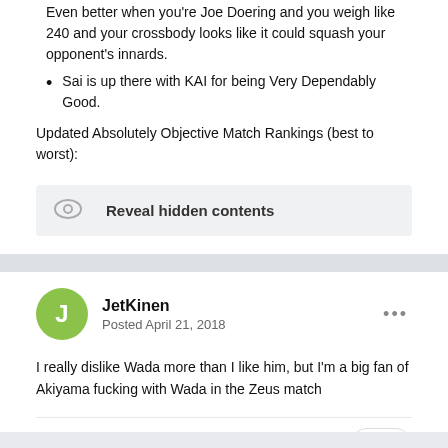Even better when you're Joe Doering and you weigh like 240 and your crossbody looks like it could squash your opponent's innards.
Sai is up there with KAI for being Very Dependably Good.
Updated Absolutely Objective Match Rankings (best to worst):
[Figure (other): Reveal hidden contents button with eye icon]
JetKinen
Posted April 21, 2018
I really dislike Wada more than I like him, but I'm a big fan of Akiyama fucking with Wada in the Zeus match